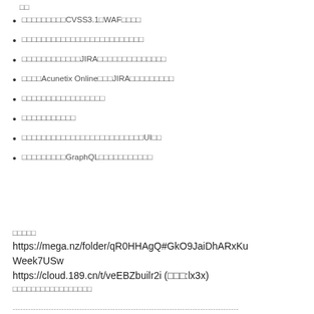調査対象システムのCVSS3.1とWAF適用の確認
調査項目ごとのリスクレベルの設定と解説文の更新
脆弱性診断実施済みのJIRAチケットの確認とクローズ
ツールのAcunetix OnlineとJIRAの連携と動作確認
診断対象のシステム一覧の更新と確認
報告書の作成と送付
診断対象システムの疎通確認と診断実施のための事前UI確認
診断項目にGraphQLの診断項目を追加と更新
資料URL
https://mega.nz/folder/qR0HHAgQ#GkO9JaiDhARxKuWeek7USw
https://cloud.189.cn/t/veEBZbuilr2i (提取码:lx3x)
関連資料のリンクをここに記載する予定